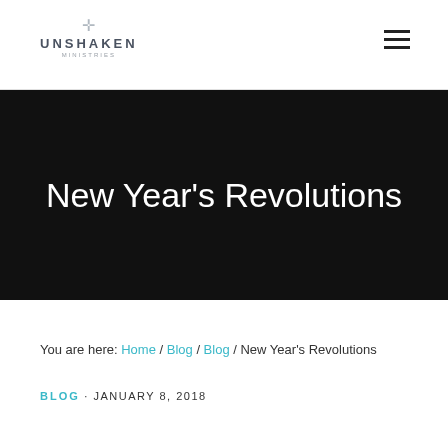UNSHAKEN MINISTRIES — navigation header with hamburger menu
[Figure (other): Dark hero banner with large white text reading: New Year's Revolutions]
New Year's Revolutions
You are here: Home / Blog / Blog / New Year's Revolutions
BLOG · JANUARY 8, 2018